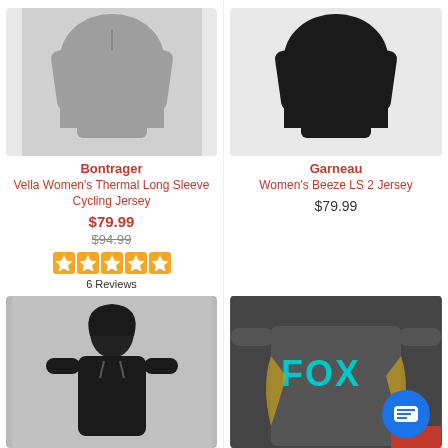[Figure (photo): Gray long-sleeve women's thermal cycling jersey on white background]
Bontrager
Vella Women's Thermal Long Sleeve Cycling Jersey
$79.99
$94.99
[Figure (other): 5-star rating shown as orange star icons]
6 Reviews
[Figure (photo): Black long-sleeve jersey on white background - Garneau Women's Beeze LS 2]
Garneau
Women's Beeze LS 2 Jersey
$79.99
[Figure (photo): Person wearing black hoodie, gray background]
[Figure (photo): Fox racing long-sleeve jersey in dark gray with FOX text in cyan on chest]